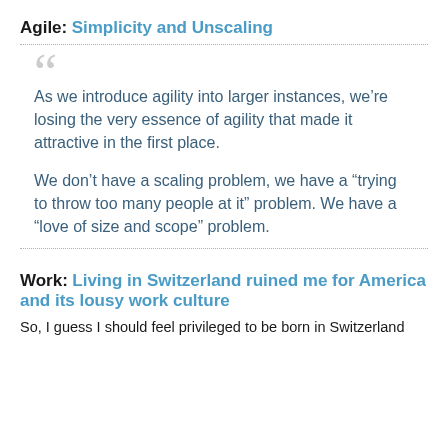Agile: Simplicity and Unscaling
As we introduce agility into larger instances, we’re losing the very essence of agility that made it attractive in the first place.

We don’t have a scaling problem, we have a “trying to throw too many people at it” problem. We have a “love of size and scope” problem.
Work: Living in Switzerland ruined me for America and its lousy work culture
So, I guess I should feel privileged to be born in Switzerland